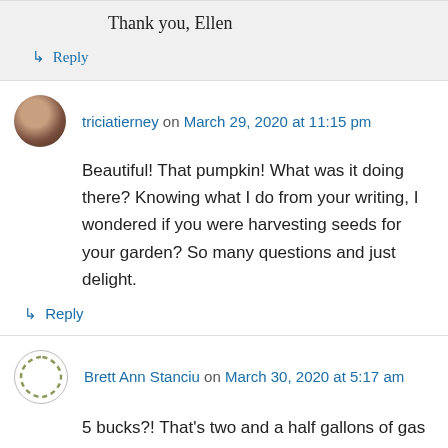Thank you, Ellen
↳ Reply
triciatierney on March 29, 2020 at 11:15 pm
Beautiful! That pumpkin! What was it doing there? Knowing what I do from your writing, I wondered if you were harvesting seeds for your garden? So many questions and just delight.
↳ Reply
Brett Ann Stanciu on March 30, 2020 at 5:17 am
5 bucks?! That's two and a half gallons of gas these days — so much cheap gas, and so little